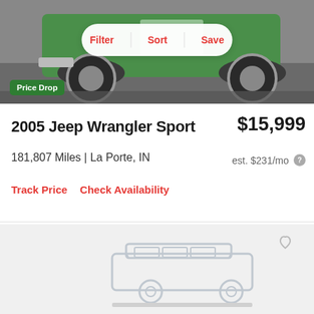[Figure (photo): Green Jeep Wrangler vehicle photo showing front/side with large off-road tires, viewed from low angle in a parking lot]
Filter | Sort | Save
Price Drop
2005 Jeep Wrangler Sport
$15,999
181,807 Miles | La Porte, IN
est. $231/mo
Track Price   Check Availability
[Figure (illustration): Placeholder car listing card with a gray SUV silhouette outline on a light gray background, with a heart/favorite icon in the top right corner]